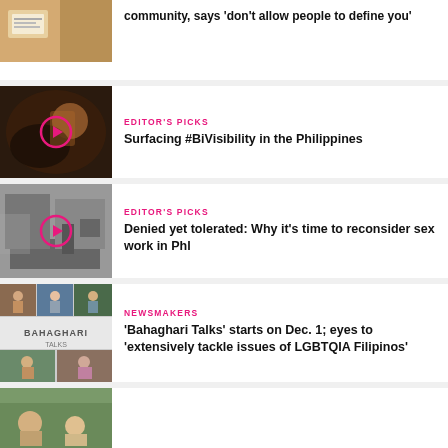[Figure (photo): Partial thumbnail of a photo with papers on a wooden surface]
community, says 'don't allow people to define you'
[Figure (photo): Blurred close-up photo with play button overlay - Editor's Picks]
EDITOR'S PICKS
Surfacing #BiVisibility in the Philippines
[Figure (photo): Black and white photo with play button overlay - Editor's Picks]
EDITOR'S PICKS
Denied yet tolerated: Why it's time to reconsider sex work in Phl
[Figure (photo): Grid collage of photos with Bahaghari Talks text]
NEWSMAKERS
'Bahaghari Talks' starts on Dec. 1; eyes to 'extensively tackle issues of LGBTQIA Filipinos'
[Figure (photo): Outdoor event photo - Newsmakers]
NEWSMAKERS